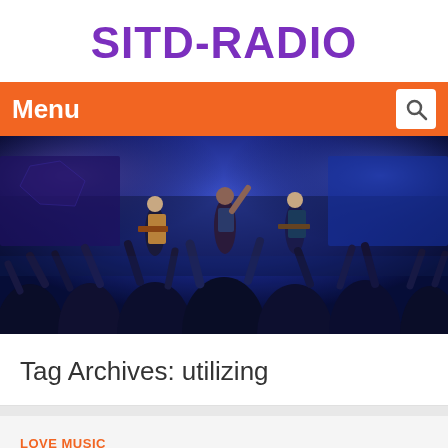SITD-RADIO
Menu
[Figure (photo): Concert photo showing a band performing on stage with blue and purple lighting, and a crowd with raised hands in the foreground]
Tag Archives: utilizing
LOVE MUSIC